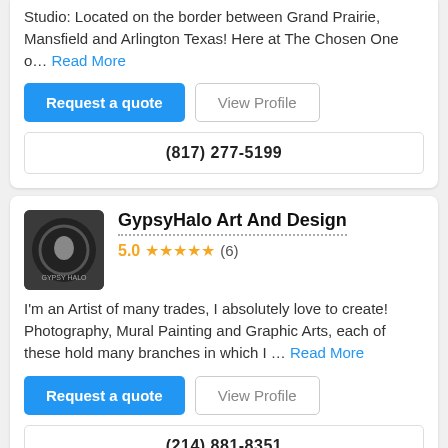Studio: Located on the border between Grand Prairie, Mansfield and Arlington Texas! Here at The Chosen One o... Read More
Request a quote | View Profile
(817) 277-5199
GypsyHalo Art And Design
5.0 ★★★★★ (6)
I'm an Artist of many trades, I absolutely love to create! Photography, Mural Painting and Graphic Arts, each of these hold many branches in which I ... Read More
Request a quote | View Profile
(214) 881-8351
CY Tattoos